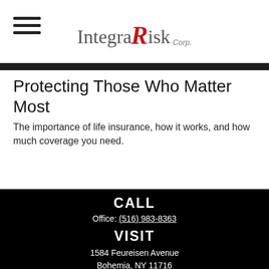[Figure (logo): IntegraRisk Corp. logo with hamburger menu icon on left. 'Integra' in grey serif, stylized red italic 'R', 'isk' in grey serif, 'Corp.' in small italic.]
Protecting Those Who Matter Most
The importance of life insurance, how it works, and how much coverage you need.
CALL
Office: (516) 983-8363
VISIT
1584 Feureisen Avenue
Bohemia, NY 11716
CONNECT
bob@integrarisk.com